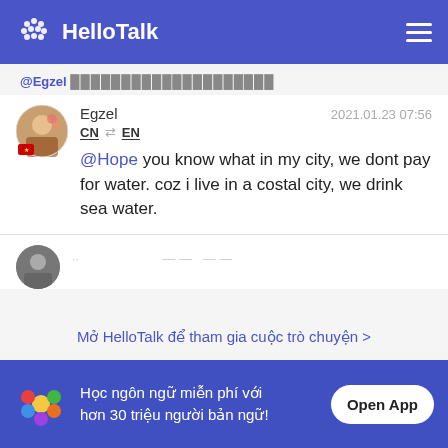HelloTalk
@Egzel ████████████████████
Egzel  2021.01.23 07:56
CN ⇄ EN
@Hope you know what in my city, we dont pay for water. coz i live in a costal city, we drink sea water.
Mở HelloTalk để tham gia cuộc trò chuyện >
Học ngôn ngữ miễn phí với hơn 30 triệu người bản ngữ!  Open App